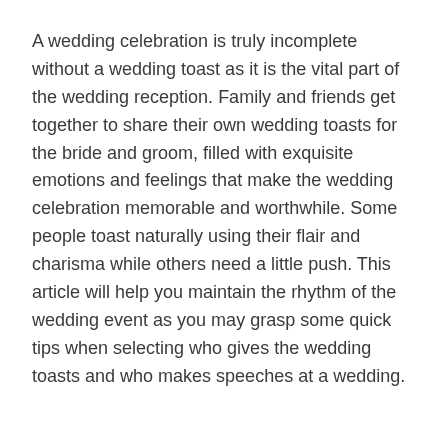A wedding celebration is truly incomplete without a wedding toast as it is the vital part of the wedding reception. Family and friends get together to share their own wedding toasts for the bride and groom, filled with exquisite emotions and feelings that make the wedding celebration memorable and worthwhile. Some people toast naturally using their flair and charisma while others need a little push. This article will help you maintain the rhythm of the wedding event as you may grasp some quick tips when selecting who gives the wedding toasts and who makes speeches at a wedding.